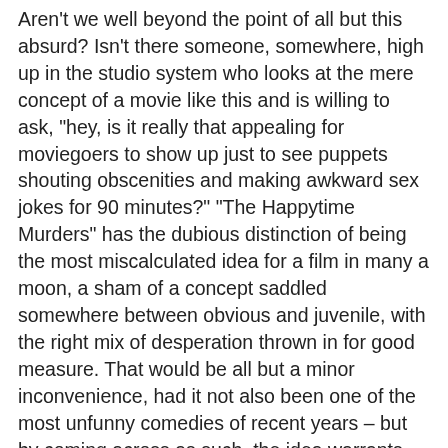Aren't we well beyond the point of all but this absurd? Isn't there someone, somewhere, high up in the studio system who looks at the mere concept of a movie like this and is willing to ask, "hey, is it really that appealing for moviegoers to show up just to see puppets shouting obscenities and making awkward sex jokes for 90 minutes?" "The Happytime Murders" has the dubious distinction of being the most miscalculated idea for a film in many a moon, a sham of a concept saddled somewhere between obvious and juvenile, with the right mix of desperation thrown in for good measure. That would be all but a minor inconvenience, had it not also been one of the most unfunny comedies of recent years – but by coming across as such, the idea warrants the outright resentment of any who dare experience it. Dwell for a moment on the fact that a director with a background in this genre, two established writers, over a dozen well-known producers and countless talented men and women stood behind the scenes and actually put conscious effort into the material – how were so many willing to be freely associated with a movie that was doomed to unravel their credibility in 90 minutes of laughless, mean-spirited hogwash? The more ambitious onlookers might, I suppose, find entertainment in imagining how disastrous the early story conferences were...